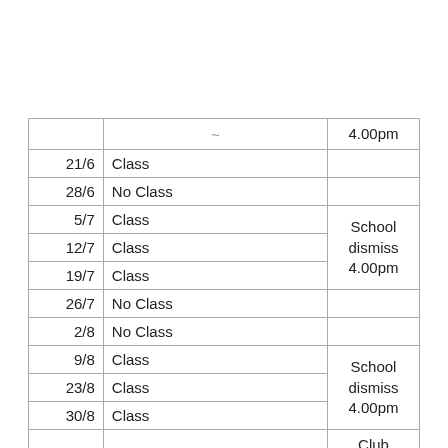| Date | Activity | Note |
| --- | --- | --- |
|  |  | 4.00pm |
| 21/6 | Class |  |
| 28/6 | No Class |  |
| 5/7 | Class |  |
| 12/7 | Class | School dismiss 4.00pm |
| 19/7 | Class |  |
| 26/7 | No Class |  |
| 2/8 | No Class |  |
| 9/8 | Class |  |
| 23/8 | Class | School dismiss 4.00pm |
| 30/8 | Class |  |
| 6/9 | Class | Club Changing Forms Distribution |
| 13/9 | No Class |  |
| 20/9 | Final Class | Club Changing Session |